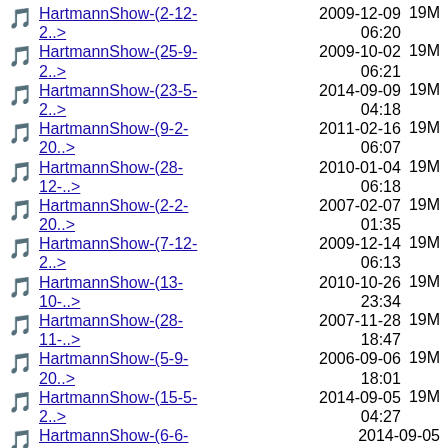HartmannShow-(2-12-2..>  2009-12-09 06:20  19M
HartmannShow-(25-9-2..>  2009-10-02 06:21  19M
HartmannShow-(23-5-2..>  2014-09-09 04:18  19M
HartmannShow-(9-2-20..>  2011-02-16 06:07  19M
HartmannShow-(28-12-..>  2010-01-04 06:18  19M
HartmannShow-(2-2-20..>  2007-02-07 01:35  19M
HartmannShow-(7-12-2..>  2009-12-14 06:13  19M
HartmannShow-(13-10-..>  2010-10-26 23:34  19M
HartmannShow-(28-11-..>  2007-11-28 18:47  19M
HartmannShow-(5-9-20..>  2006-09-06 18:01  19M
HartmannShow-(15-5-2..>  2014-09-05 04:27  19M
HartmannShow-(6-6-   2014-09-05